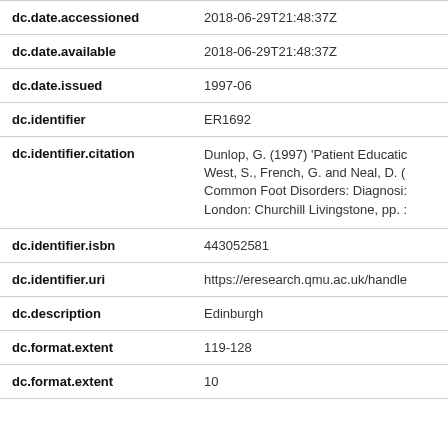| Field | Value |
| --- | --- |
| dc.date.accessioned | 2018-06-29T21:48:37Z |
| dc.date.available | 2018-06-29T21:48:37Z |
| dc.date.issued | 1997-06 |
| dc.identifier | ER1692 |
| dc.identifier.citation | Dunlop, G. (1997) 'Patient Educatic West, S., French, G. and Neal, D. ( Common Foot Disorders: Diagnosi: London: Churchill Livingstone, pp. : |
| dc.identifier.isbn | 443052581 |
| dc.identifier.uri | https://eresearch.qmu.ac.uk/handle |
| dc.description | Edinburgh |
| dc.format.extent | 119-128 |
| dc.format.extent | 10 |